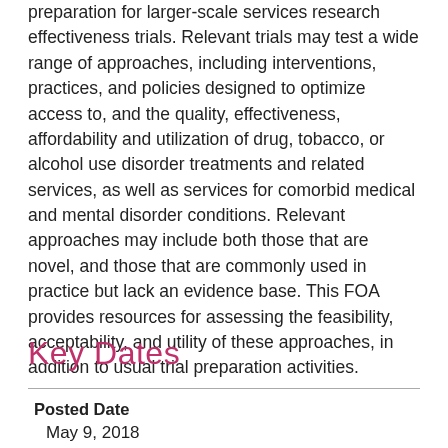preparation for larger-scale services research effectiveness trials. Relevant trials may test a wide range of approaches, including interventions, practices, and policies designed to optimize access to, and the quality, effectiveness, affordability and utilization of drug, tobacco, or alcohol use disorder treatments and related services, as well as services for comorbid medical and mental disorder conditions. Relevant approaches may include both those that are novel, and those that are commonly used in practice but lack an evidence base. This FOA provides resources for assessing the feasibility, acceptability, and utility of these approaches, in addition to usual trial preparation activities.
Key Dates
| Posted Date |  |
| --- | --- |
| May 9, 2018 |  |